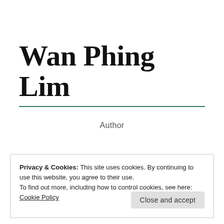Wan Phing Lim
Author
Privacy & Cookies: This site uses cookies. By continuing to use this website, you agree to their use.
To find out more, including how to control cookies, see here: Cookie Policy
Close and accept